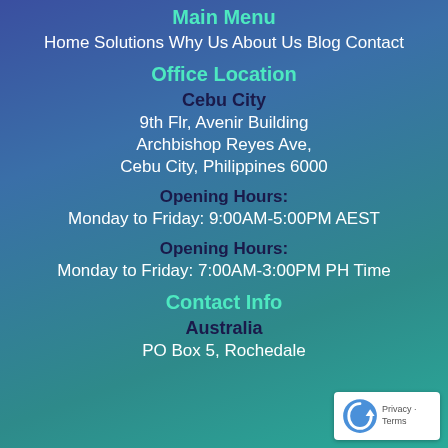Main Menu
Home Solutions Why Us About Us Blog Contact
Office Location
Cebu City
9th Flr, Avenir Building
Archbishop Reyes Ave,
Cebu City, Philippines 6000
Opening Hours:
Monday to Friday: 9:00AM-5:00PM AEST
Opening Hours:
Monday to Friday: 7:00AM-3:00PM PH Time
Contact Info
Australia
PO Box 5, Rochedale
[Figure (logo): reCAPTCHA badge with Privacy and Terms links]